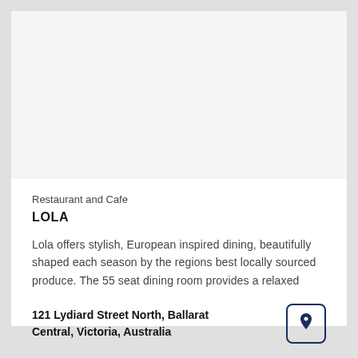[Figure (photo): White/blank image placeholder area at top of card]
Restaurant and Cafe
LOLA
Lola offers stylish, European inspired dining, beautifully shaped each season by the regions best locally sourced produce. The 55 seat dining room provides a relaxed
121 Lydiard Street North, Ballarat Central, Victoria, Australia